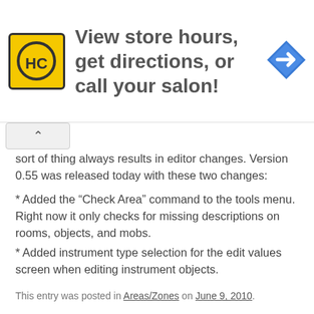[Figure (infographic): Advertisement banner for a hair salon locator service with HC logo and navigation arrow icon. Text: 'View store hours, get directions, or call your salon!']
sort of thing always results in editor changes. Version 0.55 was released today with these two changes:
* Added the “Check Area” command to the tools menu. Right now it only checks for missing descriptions on rooms, objects, and mobs.
* Added instrument type selection for the edit values screen when editing instrument objects.
This entry was posted in Areas/Zones on June 9, 2010.
Some Text Fixes